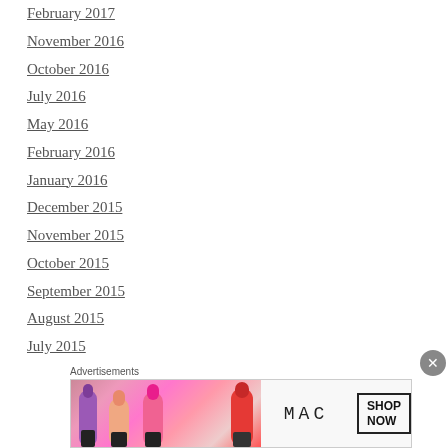February 2017
November 2016
October 2016
July 2016
May 2016
February 2016
January 2016
December 2015
November 2015
October 2015
September 2015
August 2015
July 2015
June 2015
May 2015
April 2015
Advertisements
[Figure (photo): MAC cosmetics advertisement banner showing lipsticks with SHOP NOW button]